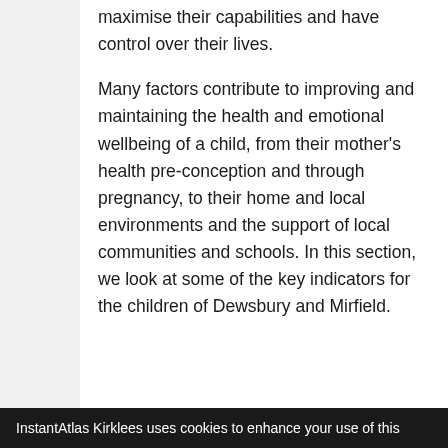maximise their capabilities and have control over their lives.
Many factors contribute to improving and maintaining the health and emotional wellbeing of a child, from their mother's health pre-conception and through pregnancy, to their home and local environments and the support of local communities and schools. In this section, we look at some of the key indicators for the children of Dewsbury and Mirfield.
InstantAtlas Kirklees uses cookies to enhance your use of this